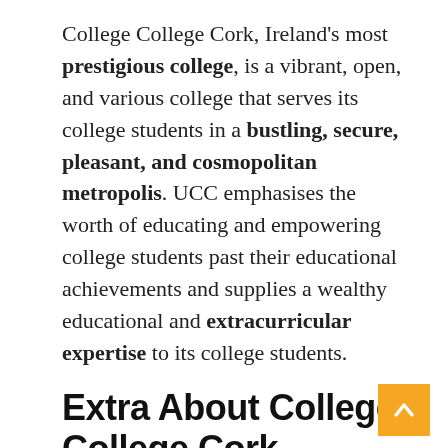College College Cork, Ireland's most prestigious college, is a vibrant, open, and various college that serves its college students in a bustling, secure, pleasant, and cosmopolitan metropolis. UCC emphasises the worth of educating and empowering college students past their educational achievements and supplies a wealthy educational and extracurricular expertise to its college students.
Extra About College College Cork
Cork is dwelling to College College Cork, a part college of the Nationwide College of